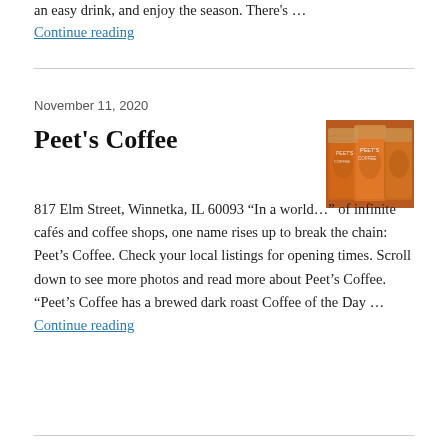an easy drink, and enjoy the season. There's … Continue reading
November 11, 2020
Peet's Coffee
[Figure (photo): Photo of Peet's Coffee bags, brown/orange colored packaging stacked together]
817 Elm Street, Winnetka, IL 60093 “In a world…” of infinite cafés and coffee shops, one name rises up to break the chain: Peet’s Coffee. Check your local listings for opening times. Scroll down to see more photos and read more about Peet’s Coffee. “Peet’s Coffee has a brewed dark roast Coffee of the Day … Continue reading